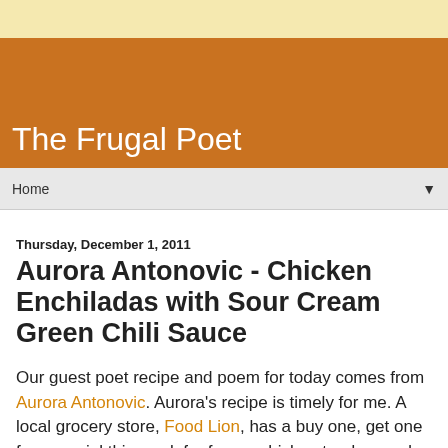The Frugal Poet
Home
Thursday, December 1, 2011
Aurora Antonovic - Chicken Enchiladas with Sour Cream Green Chili Sauce
Our guest poet recipe and poem for today comes from Aurora Antonovic. Aurora's recipe is timely for me. A local grocery store, Food Lion, has a buy one, get one free special this week for frozen chicken tenders and chicken breast. I'm having Chicken Enchiladas with Sour Cream Green Chili Sauce on Saturday!